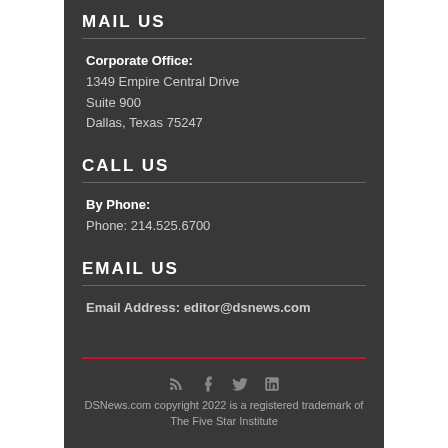MAIL US
Corporate Office:
1349 Empire Central Drive
Suite 900
Dallas, Texas 75247
CALL US
By Phone:
Phone: 214.525.6700
EMAIL US
Email Address: editor@dsnews.com
DSNews.com copyright 2022 is a registered trademark of The Five Star Institute